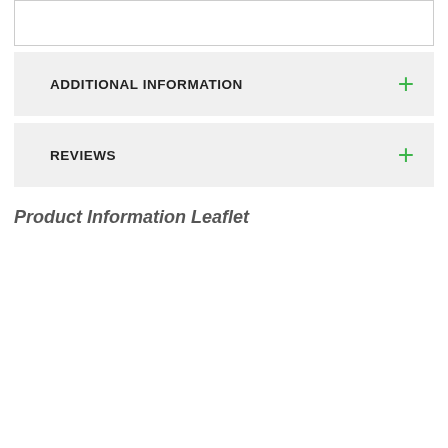ADDITIONAL INFORMATION
REVIEWS
Product Information Leaflet